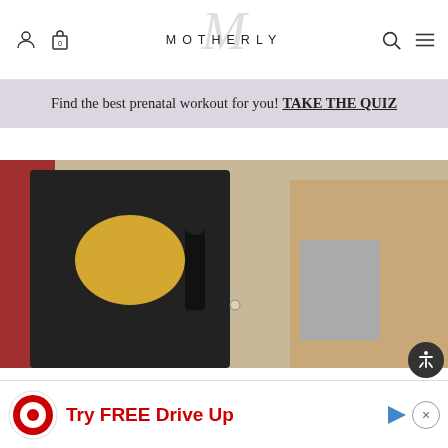MOTHERLY
Find the best prenatal workout for you! TAKE THE QUIZ
[Figure (photo): Photo of people at a Hollywood Chamber of Commerce event, with someone holding a microphone and a baby being held]
[Figure (other): Social share icons: Facebook, Pinterest, link, email]
Blake Lively is once again calling attention to the fact that using paparazzi photos of her young daughters against...is year, b...
[Figure (other): Target advertisement: Try FREE Drive Up]